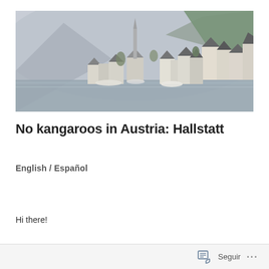[Figure (photo): Panoramic photo of Hallstatt, Austria — a lakeside village with a church spire, colorful buildings, and mountains in the background on a misty day]
No kangaroos in Austria: Hallstatt
English / Español
Hi there!
Seguir ...